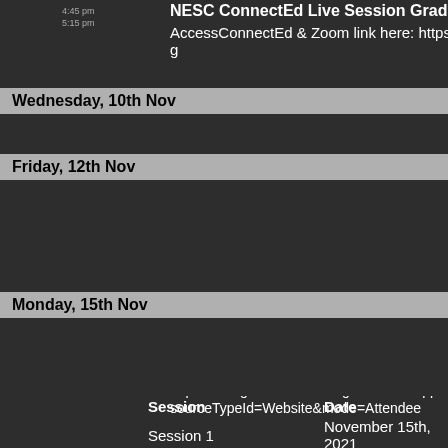4:45 pm – 5:15 pm NESC ConnectEd Live Session Grades 3-8 State Histo AccessConnectEd & Zoom link here: https://sites.goog
Wednesday, 10th Nov
12:30 pm – 1:30 pm NESC Lead Administrator's Meeting (Postponed until
Friday, 12th Nov
8:00 am – 10:00 am NDMTSS - CHAMPS Training Series (Day 4 of 5) https://ndregionaleducation.growthzoneapp.com/ap/ sourceTypeId=Website&mode=Attendee
10:30 am – 12:30 pm NDMTSS - Discipline in the Secondary Classroom (Da
Monday, 15th Nov
8:30 am – 12:30 pm NDMTSS Developing School-Wide Behavior Expecta https://members.ndrea.org/ndrea-events/Details/201 multi-day-virtual-series-405319?sourceTypeId=Web
| Session | Date |
| --- | --- |
| Session 1 | November 15th, 2021 |
| Session 2 | December 13th, 2021 |